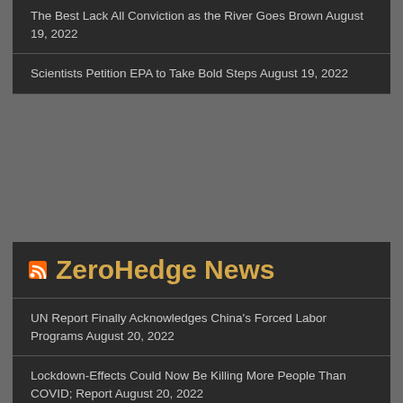The Best Lack All Conviction as the River Goes Brown August 19, 2022
Scientists Petition EPA to Take Bold Steps August 19, 2022
ZeroHedge News
UN Report Finally Acknowledges China's Forced Labor Programs August 20, 2022
Lockdown-Effects Could Now Be Killing More People Than COVID; Report August 20, 2022
Finnish Prime Minister 'Party Girl' Submits To Drug Test Over Leaked Videos August 20, 2022
Tribe: The Criminal Case Against Trump Is Another "Slam Dunk" August 20, 2022